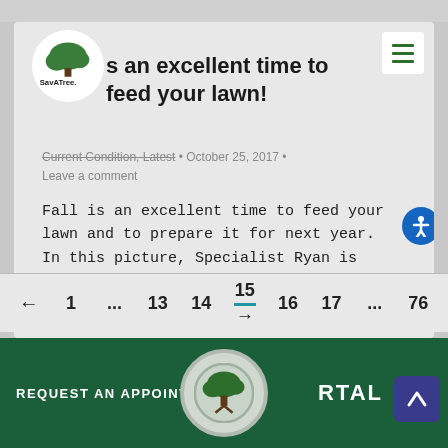[Figure (logo): SavaTree logo — green tree above 'SAVATRE.' text in a white circle]
s an excellent time to feed your lawn!
Current Condition, Latest • October 25, 2017 • Leave a comment
Fall is an excellent time to feed your lawn and to prepare it for next year.  In this picture, Specialist Ryan is applying a late season feeding for a lawn in Stillwater, Minnesota.
← 1 ... 13 14 15 16 17 ... 76 →
REQUEST AN APPOINTMENT
RTAL